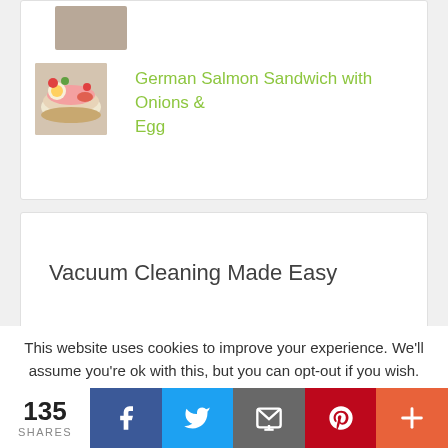[Figure (photo): Small food photo thumbnail at top of card (partially visible)]
[Figure (photo): Food photo thumbnail of German Salmon Sandwich with Onions and Egg]
German Salmon Sandwich with Onions & Egg
Vacuum Cleaning Made Easy
Get Our Newsletter
This website uses cookies to improve your experience. We'll assume you're ok with this, but you can opt-out if you wish.
135 SHARES